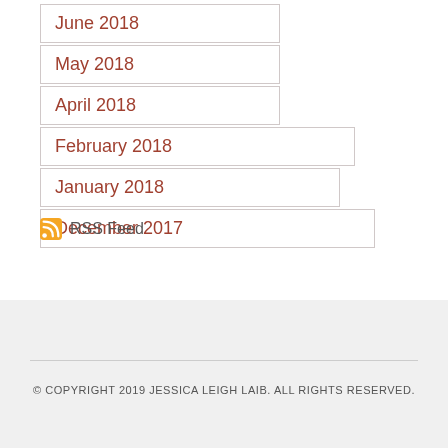June 2018
May 2018
April 2018
February 2018
January 2018
December 2017
RSS Feed
© COPYRIGHT 2019 JESSICA LEIGH LAIB. ALL RIGHTS RESERVED.